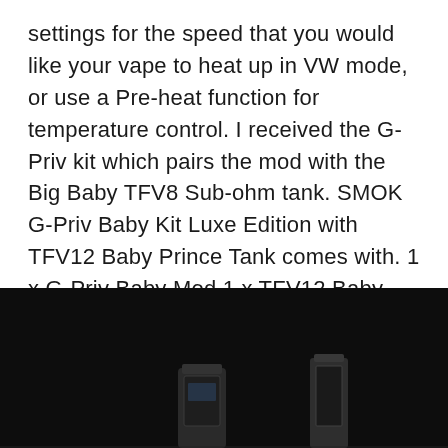settings for the speed that you would like your vape to heat up in VW mode, or use a Pre-heat function for temperature control. I received the G-Priv kit which pairs the mod with the Big Baby TFV8 Sub-ohm tank. SMOK G-Priv Baby Kit Luxe Edition with TFV12 Baby Prince Tank comes with. 1 x G-Priv Baby Mod 1 x TFV12 Baby Prince Tank 1 x V8 Baby-Q4 0.40© Quadruple coil(Pre-installed) 1 x V8 Baby-Q2 0.40© Dual coil 1 x Replacement Glass Tube 1 x USB Cable 1 x User Manual Spare Parts. SPECIFICATION. Features. 1.Elaborate design. 2.2.0 inch touch screen. 3
[Figure (photo): Dark/black background photo showing vaping device components — appears to be a SMOK G-Priv mod and TFV12 Baby Prince Tank, partially visible at the bottom of the page]